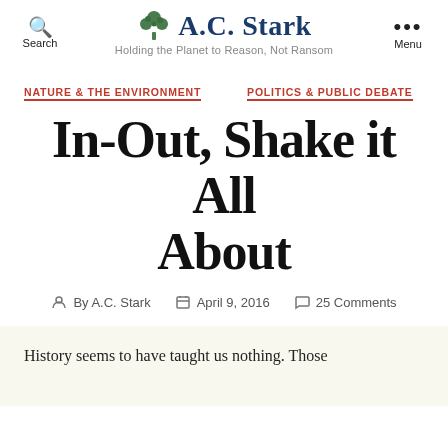A.C. Stark — Holding the Planet to Reason, Not Ransom
NATURE & THE ENVIRONMENT   POLITICS & PUBLIC DEBATE
In-Out, Shake it All About
By A.C. Stark   April 9, 2016   25 Comments
History seems to have taught us nothing. Those